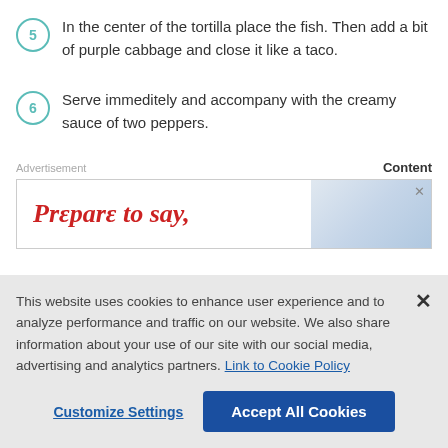5 In the center of the tortilla place the fish. Then add a bit of purple cabbage and close it like a taco.
6 Serve immeditely and accompany with the creamy sauce of two peppers.
Advertisement                                                  Content
[Figure (other): Advertisement banner with red italic text 'Prεparε to say,' and a blurred background image with a close X button.]
This website uses cookies to enhance user experience and to analyze performance and traffic on our website. We also share information about your use of our site with our social media, advertising and analytics partners. Link to Cookie Policy
Customize Settings    Accept All Cookies